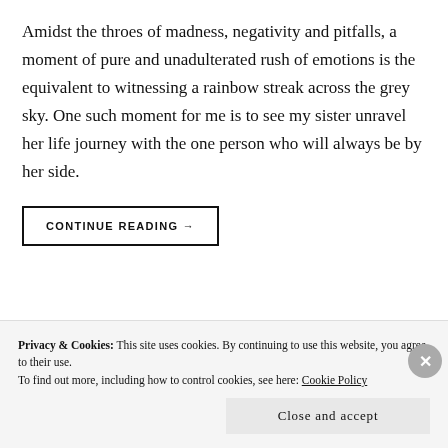Amidst the throes of madness, negativity and pitfalls, a moment of pure and unadulterated rush of emotions is the equivalent to witnessing a rainbow streak across the grey sky. One such moment for me is to see my sister unravel her life journey with the one person who will always be by her side.
CONTINUE READING →
Privacy & Cookies: This site uses cookies. By continuing to use this website, you agree to their use.
To find out more, including how to control cookies, see here: Cookie Policy
Close and accept